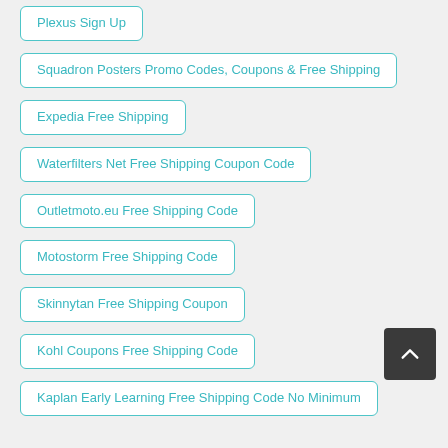Plexus Sign Up
Squadron Posters Promo Codes, Coupons & Free Shipping
Expedia Free Shipping
Waterfilters Net Free Shipping Coupon Code
Outletmoto.eu Free Shipping Code
Motostorm Free Shipping Code
Skinnytan Free Shipping Coupon
Kohl Coupons Free Shipping Code
Kaplan Early Learning Free Shipping Code No Minimum